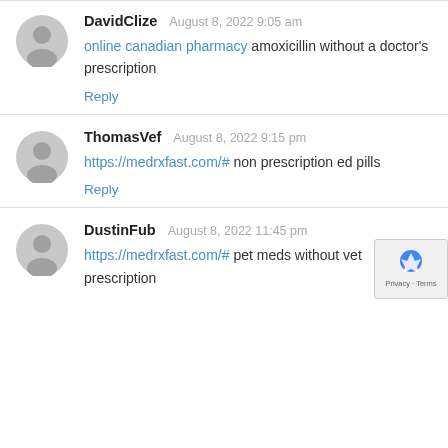[Figure (illustration): Gray avatar icon for DavidClize]
DavidClize  August 8, 2022 9:05 am
online canadian pharmacy amoxicillin without a doctor's prescription
Reply
[Figure (illustration): Gray avatar icon for ThomasVef]
ThomasVef  August 8, 2022 9:15 pm
https://medrxfast.com/# non prescription ed pills
Reply
[Figure (illustration): Gray avatar icon for DustinFub]
DustinFub  August 8, 2022 11:45 pm
https://medrxfast.com/# pet meds without vet prescription